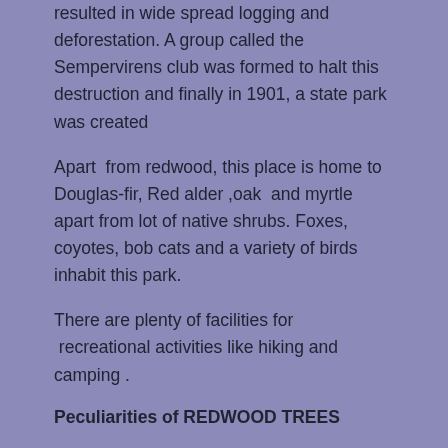resulted in wide spread logging and deforestation. A group called the Sempervirens club was formed to halt this destruction and finally in 1901, a state park was created
Apart from redwood, this place is home to Douglas-fir, Red alder ,oak and myrtle apart from lot of native shrubs. Foxes, coyotes, bob cats and a variety of birds inhabit this park.
There are plenty of facilities for recreational activities like hiking and camping .
Peculiarities of REDWOOD TREES
Bark: It can be upto a foot thick and protects the growing part of the tree
Roots: Are remarkably shallow for such tall trees but they grow sideways and fuse with neighboring roots forming a network which gives more stability